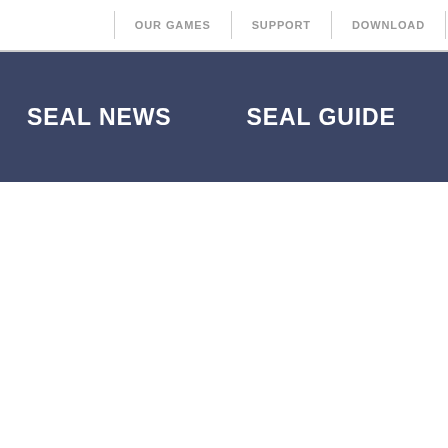OUR GAMES | SUPPORT | DOWNLOAD
SEAL NEWS
SEAL GUIDE